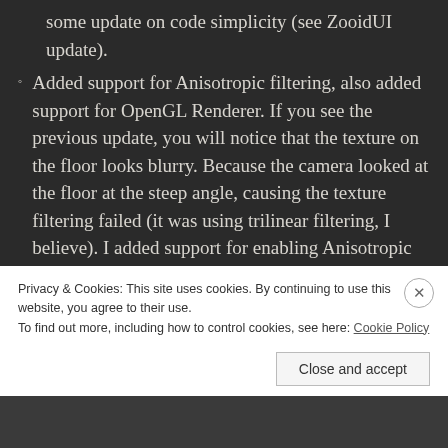some update on code simplicity (see ZooidUI update).
Added support for Anisotropic filtering, also added support for OpenGL Renderer. If you see the previous update, you will notice that the texture on the floor looks blurry. Because the camera looked at the floor at the steep angle, causing the texture filtering failed (it was using trilinear filtering, I believe). I added support for enabling Anisotropic filtering on the texture object in GPU.
Implement Depth Pre-Pass. I did read some graphics studies in the last couple of months and found out that most of them using Depth Pre-Pass (another name: Z pre-pass). This pass will help to
Privacy & Cookies: This site uses cookies. By continuing to use this website, you agree to their use.
To find out more, including how to control cookies, see here: Cookie Policy
Close and accept